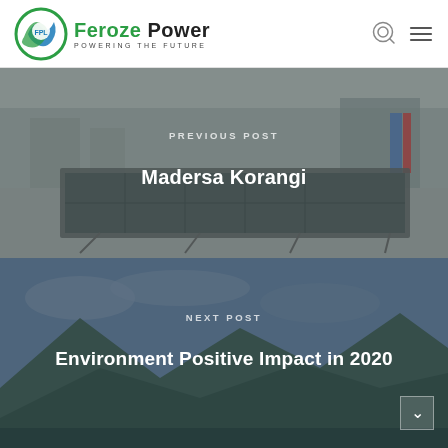[Figure (logo): Feroze Power logo with circular green/blue emblem and text 'Feroze Power – Powering the Future']
[Figure (photo): Solar panel installation on a rooftop, urban background with buildings]
PREVIOUS POST
Madersa Korangi
[Figure (photo): Mountain landscape with green hills and cloudy sky]
NEXT POST
Environment Positive Impact in 2020